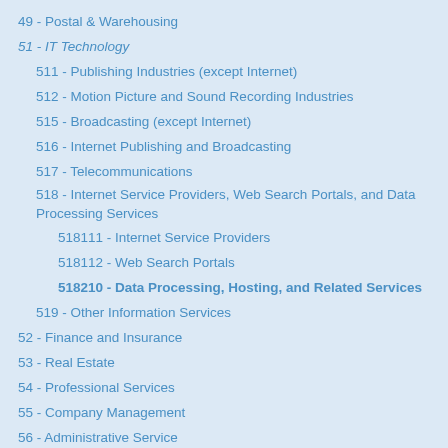49 - Postal & Warehousing
51 - IT Technology
511 - Publishing Industries (except Internet)
512 - Motion Picture and Sound Recording Industries
515 - Broadcasting (except Internet)
516 - Internet Publishing and Broadcasting
517 - Telecommunications
518 - Internet Service Providers, Web Search Portals, and Data Processing Services
518111 - Internet Service Providers
518112 - Web Search Portals
518210 - Data Processing, Hosting, and Related Services
519 - Other Information Services
52 - Finance and Insurance
53 - Real Estate
54 - Professional Services
55 - Company Management
56 - Administrative Service
61 - Educational Services
62 - Health Care